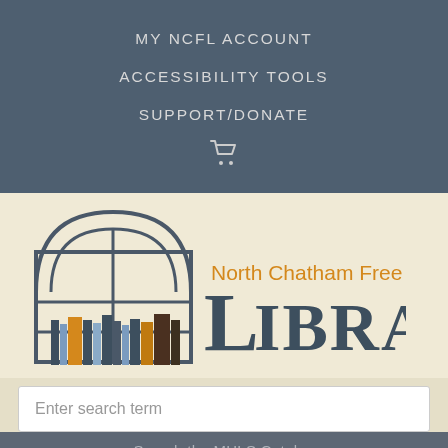MY NCFL ACCOUNT
ACCESSIBILITY TOOLS
SUPPORT/DONATE
[Figure (logo): North Chatham Free Library logo with arched window and books]
Enter search term
Search the MHLS Catalog
Share This